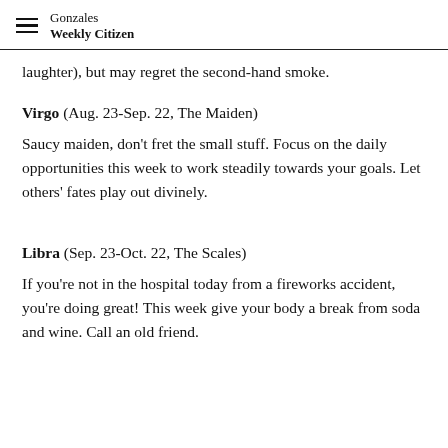Gonzales Weekly Citizen
laughter), but may regret the second-hand smoke.
Virgo (Aug. 23-Sep. 22, The Maiden)
Saucy maiden, don't fret the small stuff. Focus on the daily opportunities this week to work steadily towards your goals. Let others' fates play out divinely.
Libra (Sep. 23-Oct. 22, The Scales)
If you're not in the hospital today from a fireworks accident, you're doing great! This week give your body a break from soda and wine. Call an old friend.